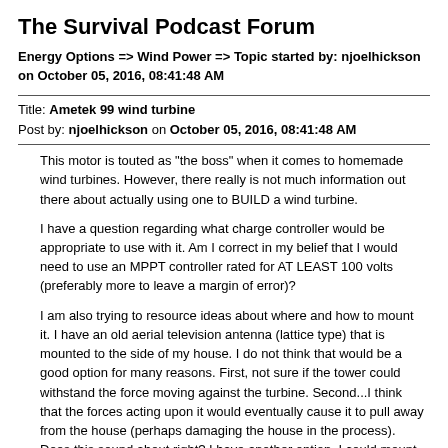The Survival Podcast Forum
Energy Options => Wind Power => Topic started by: njoelhickson on October 05, 2016, 08:41:48 AM
Title: Ametek 99 wind turbine
Post by: njoelhickson on October 05, 2016, 08:41:48 AM
This motor is touted as "the boss" when it comes to homemade wind turbines. However, there really is not much information out there about actually using one to BUILD a wind turbine.

I have a question regarding what charge controller would be appropriate to use with it. Am I correct in my belief that I would need to use an MPPT controller rated for AT LEAST 100 volts (preferably more to leave a margin of error)?

I am also trying to resource ideas about where and how to mount it. I have an old aerial television antenna (lattice type) that is mounted to the side of my house. I do not think that would be a good option for many reasons. First, not sure if the tower could withstand the force moving against the turbine. Second...I think that the forces acting upon it would eventually cause it to pull away from the house (perhaps damaging the house in the process). Does this sound about right? I have another option, I could mount it to the top of a telephone pole